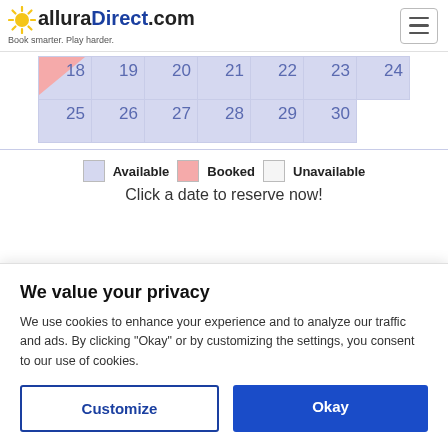alluraDirect.com — Book smarter. Play harder.
[Figure (other): Calendar grid showing dates 18-30 with availability. Dates 18-24 in row 1, 25-30 in row 2. Date 18 has a pink booked triangle, remaining dates are available (light blue/purple).]
Available   Booked   Unavailable
Click a date to reserve now!
We value your privacy
We use cookies to enhance your experience and to analyze our traffic and ads. By clicking "Okay" or by customizing the settings, you consent to our use of cookies.
Customize   Okay